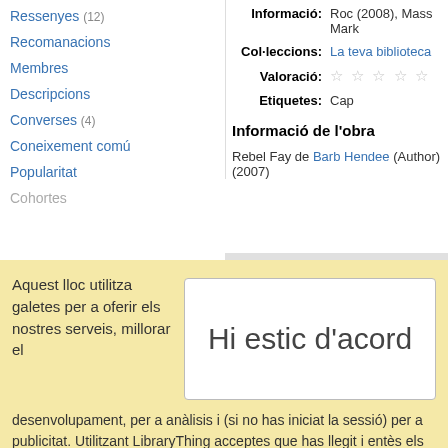Ressenyes (12)
Recomanacions
Membres
Descripcions
Converses (4)
Coneixement comú
Popularitat
Cohortes
Informació: Roc (2008), Mass Mark
Col·leccions: La teva biblioteca
Valoració: ☆ ☆ ☆ ☆ ☆
Etiquetes: Cap
Informació de l'obra
Rebel Fay de Barb Hendee (Author) (2007)
— Membres
Aquest lloc utilitza galetes per a oferir els nostres serveis, millorar el
Hi estic d'acord
desenvolupament, per a anàlisis i (si no has iniciat la sessió) per a publicitat. Utilitzant LibraryThing acceptes que has llegit i entès els nostres Termes de servei i politica de privacitat. L'ús que facis del lloc i dels seus serveis està subjecte a aquestes politiques i termes.